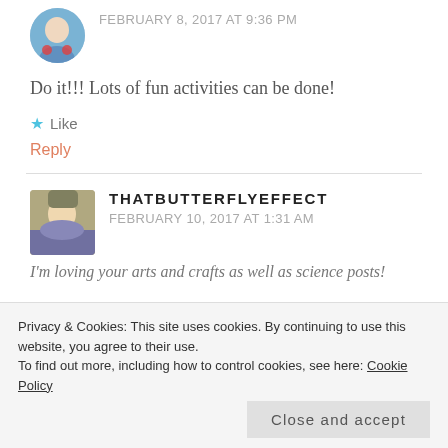FEBRUARY 8, 2017 AT 9:36 PM
Do it!!! Lots of fun activities can be done!
★ Like
Reply
THATBUTTERFLYEFFECT
FEBRUARY 10, 2017 AT 1:31 AM
I'm loving your arts and crafts as well as science posts!
Privacy & Cookies: This site uses cookies. By continuing to use this website, you agree to their use.
To find out more, including how to control cookies, see here: Cookie Policy
Close and accept